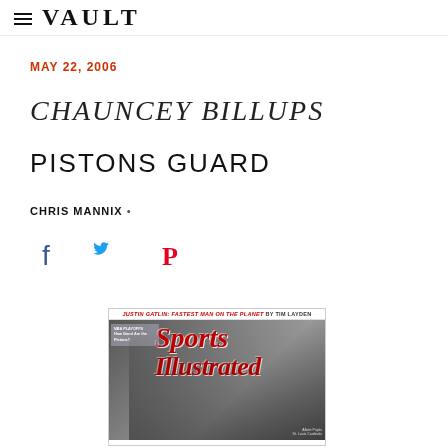VAULT
MAY 22, 2006
CHAUNCEY BILLUPS
PISTONS GUARD
CHRIS MANNIX •
[Figure (other): Social media share icons: Facebook, Twitter, Pinterest]
[Figure (photo): Sports Illustrated magazine cover dated May 22, 2006, featuring a baseball player batting, with headline 'JUSTIN GATLIN: FASTEST MAN ON THE PLANET' at top and Sports Illustrated logo. Inset box reads 'NBA PLAYOFFS: How Good Are the Pistons?']